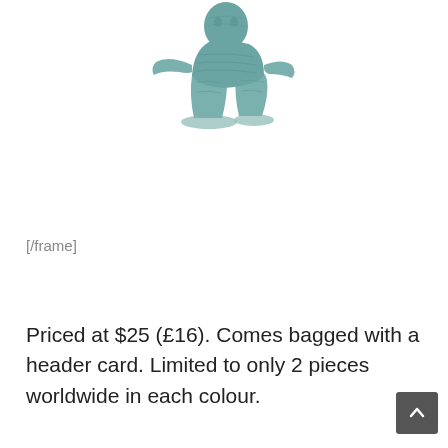[Figure (illustration): A small painted miniature figurine of a crouching or hunched humanoid creature, rendered in teal/blue-grey tones. The figure appears to be a fantasy or sci-fi gaming miniature shown against a white background.]
[/frame]
Priced at $25 (£16). Comes bagged with a header card. Limited to only 2 pieces worldwide in each colour.